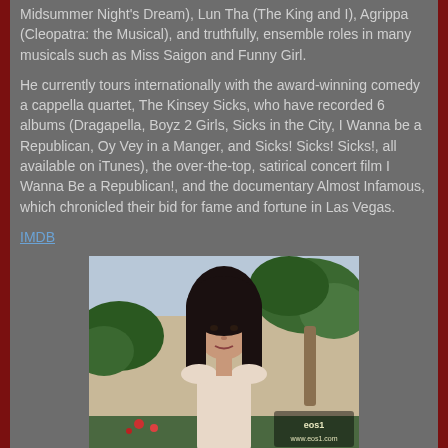Midsummer Night's Dream), Lun Tha (The King and I), Agrippa (Cleopatra: the Musical), and truthfully, ensemble roles in many musicals such as Miss Saigon and Funny Girl.
He currently tours internationally with the award-winning comedy a cappella quartet, The Kinsey Sicks, who have recorded 6 albums (Dragapella, Boyz 2 Girls, Sicks in the City, I Wanna be a Republican, Oy Vey in a Manger, and Sicks! Sicks! Sicks!, all available on iTunes), the over-the-top, satirical concert film I Wanna Be a Republican!, and the documentary Almost Infamous, which chronicled their bid for fame and fortune in Las Vegas.
IMDB
[Figure (photo): Photo of a woman with long dark hair, wearing a light-colored top, posing outdoors with palm trees and foliage in the background. A watermark reads 'eos1' and 'www.eos1.com' in the bottom right corner.]